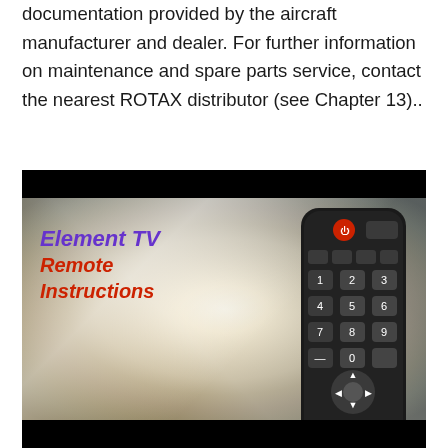documentation provided by the aircraft manufacturer and dealer. For further information on maintenance and spare parts service, contact the nearest ROTAX distributor (see Chapter 13)..
[Figure (photo): Photo of Element TV Remote Instructions — shows a TV remote control on a sparkling light-ray background with text 'Element TV Remote Instructions' overlaid on the left side.]